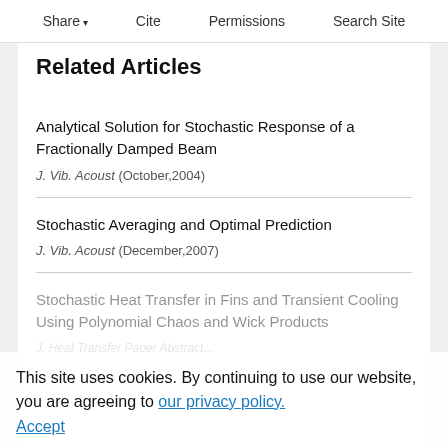Share  Cite  Permissions  Search Site
Related Articles
Analytical Solution for Stochastic Response of a Fractionally Damped Beam
J. Vib. Acoust (October,2004)
Stochastic Averaging and Optimal Prediction
J. Vib. Acoust (December,2007)
Stochastic Heat Transfer in Fins and Transient Cooling Using Polynomial Chaos and Wick Products
This site uses cookies. By continuing to use our website, you are agreeing to our privacy policy. Accept